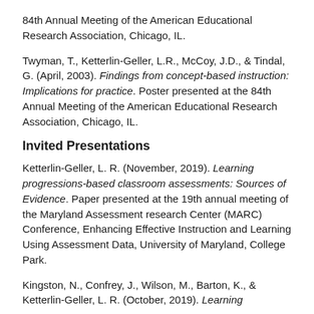84th Annual Meeting of the American Educational Research Association, Chicago, IL.
Twyman, T., Ketterlin-Geller, L.R., McCoy, J.D., & Tindal, G. (April, 2003). Findings from concept-based instruction: Implications for practice. Poster presented at the 84th Annual Meeting of the American Educational Research Association, Chicago, IL.
Invited Presentations
Ketterlin-Geller, L. R. (November, 2019). Learning progressions-based classroom assessments: Sources of Evidence. Paper presented at the 19th annual meeting of the Maryland Assessment research Center (MARC) Conference, Enhancing Effective Instruction and Learning Using Assessment Data, University of Maryland, College Park.
Kingston, N., Confrey, J., Wilson, M., Barton, K., & Ketterlin-Geller, L. R. (October, 2019). Learning...